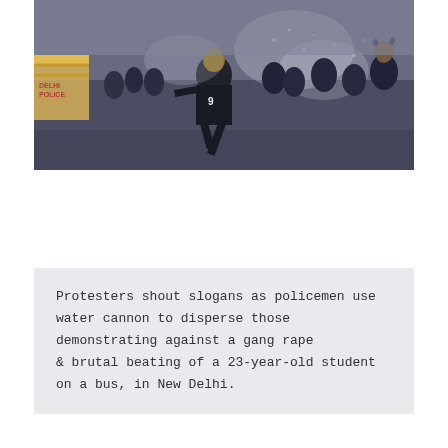[Figure (photo): Protesters running in the street as police use water cannon to disperse them. A Delhi Police barrier is visible on the left. People are seen in motion, wet from water cannon, during a demonstration in New Delhi.]
Protesters shout slogans as policemen use water cannon to disperse those demonstrating against a gang rape & brutal beating of a 23-year-old student on a bus, in New Delhi.